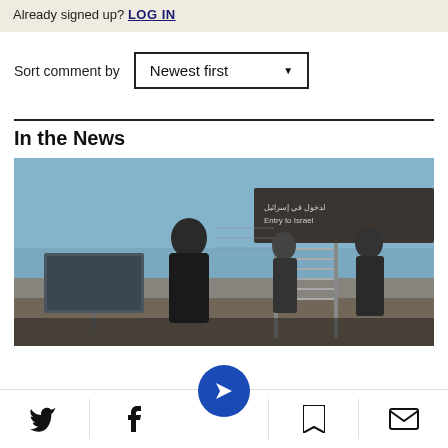Already signed up? LOG IN
Sort comment by
Newest first
In the News
[Figure (photo): People walking through a checkpoint/border crossing gate with Arabic and English signage visible overhead. The scene appears to be a security checkpoint with turnstiles, in a desert or arid environment under blue sky.]
Social share bar with Twitter, Facebook, bookmark, and email icons, plus a central navigation button